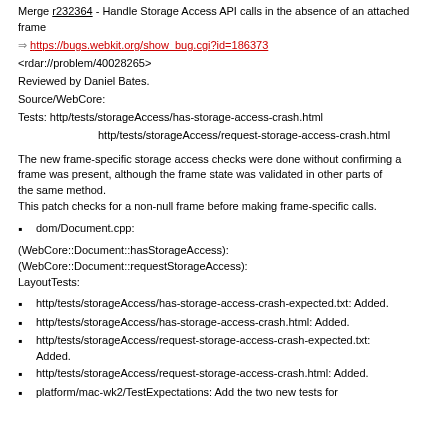Merge r232364 - Handle Storage Access API calls in the absence of an attached frame
⇒ https://bugs.webkit.org/show_bug.cgi?id=186373
<rdar://problem/40028265>
Reviewed by Daniel Bates.
Source/WebCore:
Tests: http/tests/storageAccess/has-storage-access-crash.html
http/tests/storageAccess/request-storage-access-crash.html
The new frame-specific storage access checks were done without confirming a frame was present, although the frame state was validated in other parts of the same method. This patch checks for a non-null frame before making frame-specific calls.
dom/Document.cpp:
(WebCore::Document::hasStorageAccess): (WebCore::Document::requestStorageAccess): LayoutTests:
http/tests/storageAccess/has-storage-access-crash-expected.txt: Added.
http/tests/storageAccess/has-storage-access-crash.html: Added.
http/tests/storageAccess/request-storage-access-crash-expected.txt: Added.
http/tests/storageAccess/request-storage-access-crash.html: Added.
platform/mac-wk2/TestExpectations: Add the two new tests for